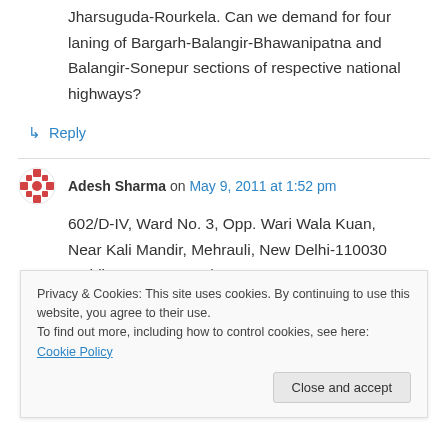Jharsuguda-Rourkela. Can we demand for four laning of Bargarh-Balangir-Bhawanipatna and Balangir-Sonepur sections of respective national highways?
↳ Reply
Adesh Sharma on May 9, 2011 at 1:52 pm
602/D-IV, Ward No. 3, Opp. Wari Wala Kuan, Near Kali Mandir, Mehrauli, New Delhi-110030 Mobile 9213955385 / 9210250093
Privacy & Cookies: This site uses cookies. By continuing to use this website, you agree to their use. To find out more, including how to control cookies, see here: Cookie Policy
Close and accept
Fittings etc.